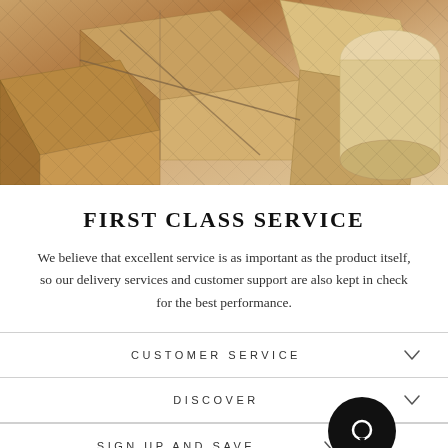[Figure (photo): Overhead view of stacked cardboard boxes with rope/twine, in warm brown tones]
FIRST CLASS SERVICE
We believe that excellent service is as important as the product itself, so our delivery services and customer support are also kept in check for the best performance.
CUSTOMER SERVICE
DISCOVER
SIGN UP AND SAVE